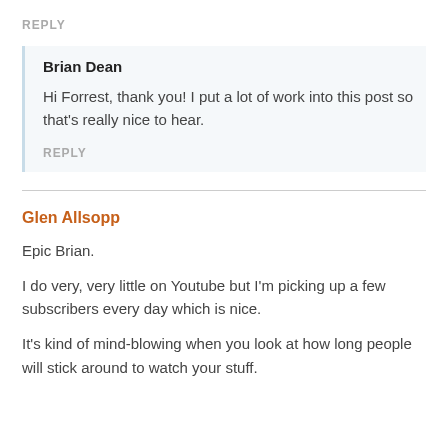REPLY
Brian Dean
Hi Forrest, thank you! I put a lot of work into this post so that's really nice to hear.
REPLY
Glen Allsopp
Epic Brian.
I do very, very little on Youtube but I'm picking up a few subscribers every day which is nice.
It's kind of mind-blowing when you look at how long people will stick around to watch your stuff.